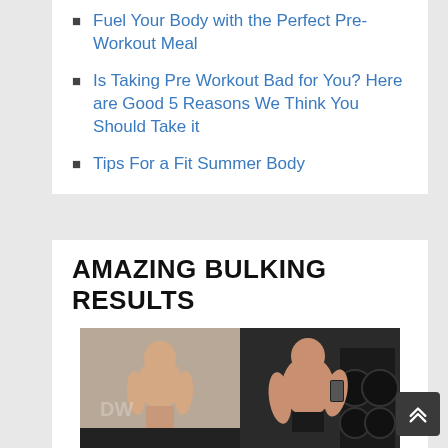Fuel Your Body with the Perfect Pre-Workout Meal
Is Taking Pre Workout Bad for You? Here are Good 5 Reasons We Think You Should Take it
Tips For a Fit Summer Body
AMAZING BULKING RESULTS
[Figure (photo): Before and after photos of a man showing muscle gain results. Left photo shows a lean man seated, right photo shows the same or similar man with more muscle mass taking a gym selfie.]